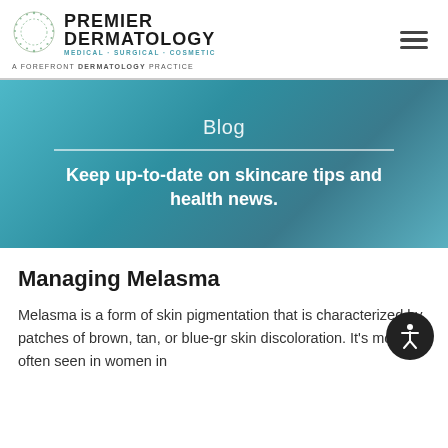PREMIER DERMATOLOGY MEDICAL·SURGICAL·COSMETIC — A FOREFRONT DERMATOLOGY PRACTICE
Blog
Keep up-to-date on skincare tips and health news.
Managing Melasma
Melasma is a form of skin pigmentation that is characterized by patches of brown, tan, or blue-gr skin discoloration. It's most often seen in women in